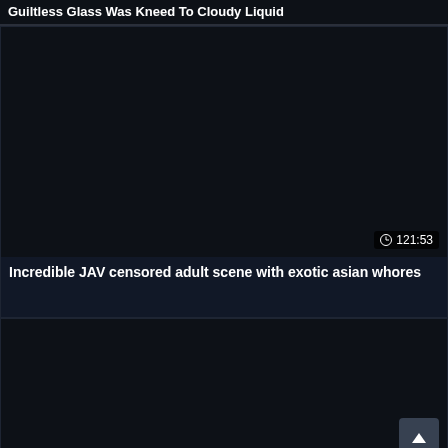Guiltless Glass Was Kneed To Cloudy Liquid
[Figure (other): Dark thumbnail placeholder for a video card]
121:53
Incredible JAV censored adult scene with exotic asian whores
[Figure (other): Dark thumbnail placeholder for a second video card]